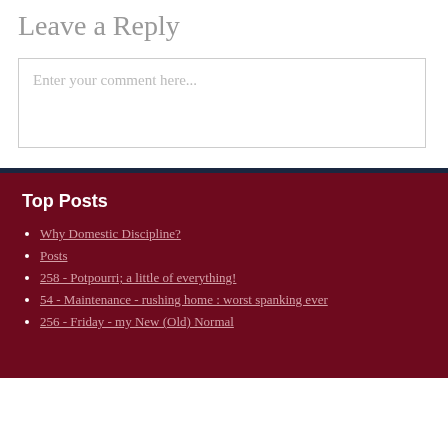Leave a Reply
Enter your comment here...
Top Posts
Why Domestic Discipline?
Posts
258 - Potpourri; a little of everything!
54 - Maintenance - rushing home : worst spanking ever
256 - Friday - my New (Old) Normal